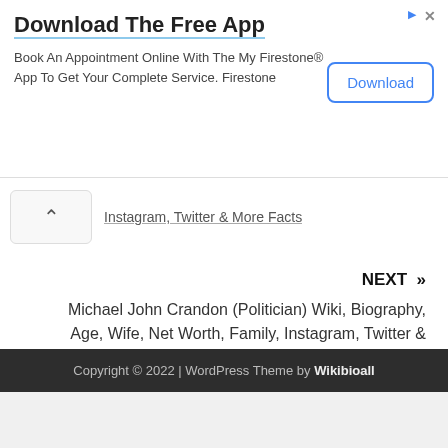[Figure (other): Advertisement banner for Download The Free App - Book An Appointment Online With The My Firestone App To Get Your Complete Service. Firestone, with a Download button]
Instagram, Twitter & More Facts
NEXT »
Michael John Crandon (Politician) Wiki, Biography, Age, Wife, Net Worth, Family, Instagram, Twitter & More Facts
SPONSORED LINKS
Copyright © 2022 | WordPress Theme by Wikibioall